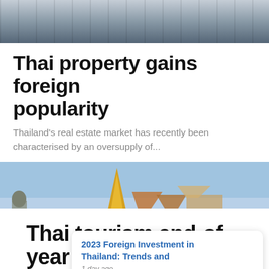[Figure (photo): Top cropped photo showing a street scene, possibly Bangkok, with buildings and vehicles visible]
Thai property gains foreign popularity
Thailand's real estate market has recently been characterised by an oversupply of...
[Figure (photo): Tourists at Wat Phra Kaew (Temple of the Emerald Buddha) in Bangkok, Thailand, with golden stupa visible. An overlay popup card reads '2023 Foreign Investment in Thailand: Trends and' with '1 day ago'. A blue bell notification button with badge showing '1' and a dark circle button with 'X' are also visible.]
Thai tourism end-of-year